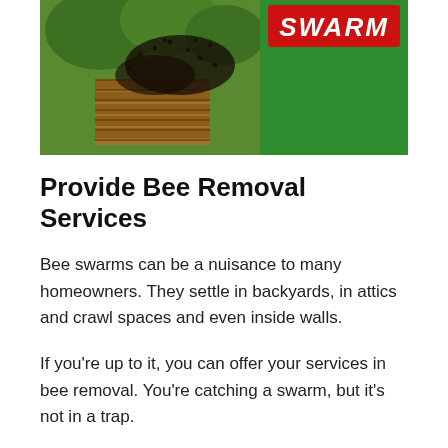[Figure (photo): A bee swarm on a wooden beehive or box structure surrounded by trees, with a red banner in the top right corner reading 'SWARM' in white bold italic text on a green background.]
Provide Bee Removal Services
Bee swarms can be a nuisance to many homeowners. They settle in backyards, in attics and crawl spaces and even inside walls.
If you’re up to it, you can offer your services in bee removal. You’re catching a swarm, but it’s not in a trap.
Be prepared before you attempt this. You’ll need extra equipment like ladders, a vacuum to